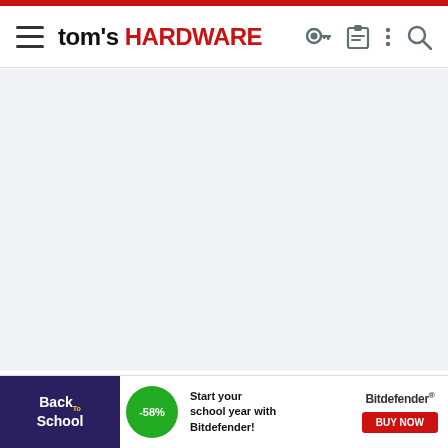tom's HARDWARE
[Figure (screenshot): Large gray placeholder content area, representing an embedded forum post or article content region]
[Figure (other): Vote widget showing up arrow, 0 count in red, and down arrow]
sridhars
[Figure (infographic): Bitdefender Back to School advertisement banner with -58% discount badge and 'Start your school year with Bitdefender!' text and BUY NOW button]